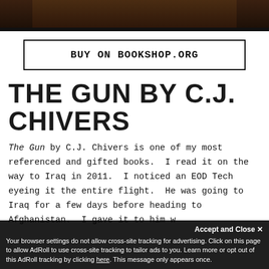[Figure (photo): Bottom portion of a book cover with dark brown/maroon coloring, partially visible at top of page]
BUY ON BOOKSHOP.ORG
THE GUN BY C.J. CHIVERS
The Gun by C.J. Chivers is one of my most referenced and gifted books. I read it on the way to Iraq in 2011. I noticed an EOD Tech eyeing it the entire flight. He was going to Iraq for a few days before heading to Afghanistan. I gave it to him w...
Accept and Close ✕
Your browser settings do not allow cross-site tracking for advertising. Click on this page to allow AdRoll to use cross-site tracking to tailor ads to you. Learn more or opt out of this AdRoll tracking by clicking here. This message only appears once.